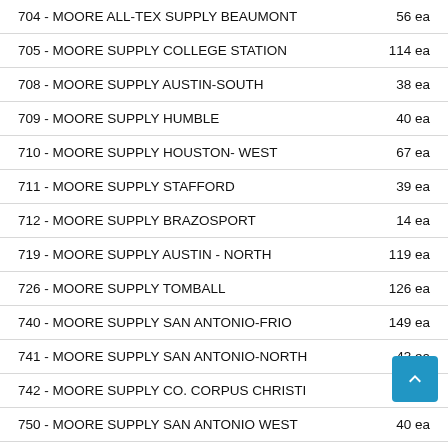| Location | Qty |
| --- | --- |
| 704 - MOORE ALL-TEX SUPPLY BEAUMONT | 56 ea |
| 705 - MOORE SUPPLY COLLEGE STATION | 114 ea |
| 708 - MOORE SUPPLY AUSTIN-SOUTH | 38 ea |
| 709 - MOORE SUPPLY HUMBLE | 40 ea |
| 710 - MOORE SUPPLY HOUSTON- WEST | 67 ea |
| 711 - MOORE SUPPLY STAFFORD | 39 ea |
| 712 - MOORE SUPPLY BRAZOSPORT | 14 ea |
| 719 - MOORE SUPPLY AUSTIN - NORTH | 119 ea |
| 726 - MOORE SUPPLY TOMBALL | 126 ea |
| 740 - MOORE SUPPLY SAN ANTONIO-FRIO | 149 ea |
| 741 - MOORE SUPPLY SAN ANTONIO-NORTH | 43 ea |
| 742 - MOORE SUPPLY CO. CORPUS CHRISTI | 26 ea |
| 750 - MOORE SUPPLY SAN ANTONIO WEST | 40 ea |
| 7200 - MOORE SUPPLY HOUSTON-SOUTH | 8 ea |
| 7250 - MOORE SUPPLY LEAGUE CITY | 77 ea |
| 7754 - HUGHES SAN ANTONIO RITTIMAN | 12 ea |